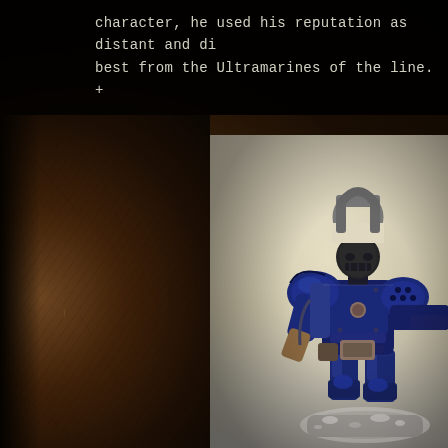character, he used his reputation as distant and di best from the Ultramarines of the line. +
[Figure (photo): A painted Warhammer 40K Space Marine miniature figure in blue and dark metallic armor, wearing a distinctive helmet with a horseshoe-shaped crest. The figure is posed dynamically and stands on a grey rubble base. Photographed against a cream/white background.]